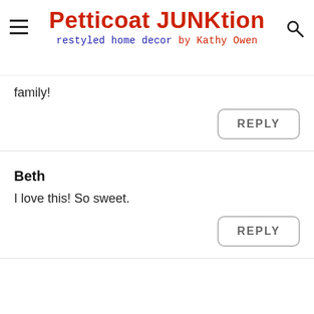Petticoat JUNKtion – restyled home decor by Kathy Owen
family!
REPLY
Beth
I love this! So sweet.
REPLY